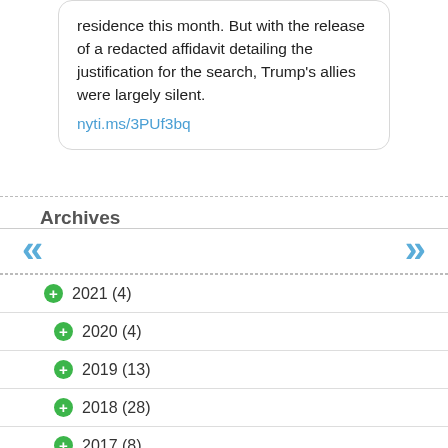residence this month. But with the release of a redacted affidavit detailing the justification for the search, Trump's allies were largely silent.
nyti.ms/3PUf3bq
Archives
2021 (4)
2020 (4)
2019 (13)
2018 (28)
2017 (8)
2016 (9)
2015 (18)